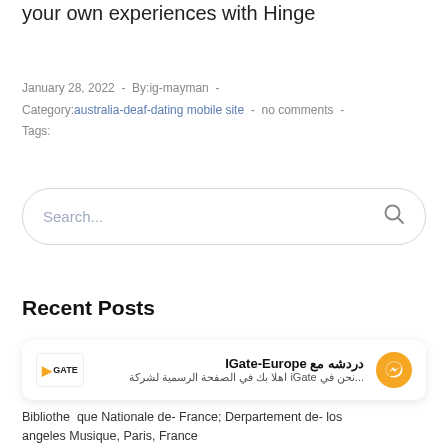your own experiences with Hinge
January 28, 2022  -  By:ig-mayman  -  Category:australia-deaf-dating mobile site  -  no comments  -  Tags:
[Figure (other): Search input box with placeholder text 'Search...' and a search icon on the right]
Recent Posts
[Figure (other): Recent post card for IGate-Europe showing logo, Arabic title text 'دردشة مع IGate-Europe', Arabic subtitle text '...نحن في iGate اهلا بك في الصفحة الرسمية لشركة', and Messenger icon]
Bibliothe que Nationale de- France; Derpartement de- los angeles Musique, Paris, France